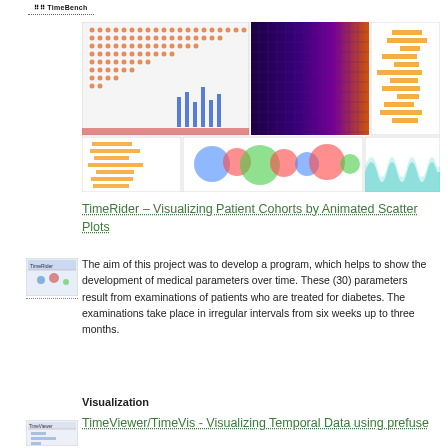TimeBench
[Figure (screenshot): Composite image showing multiple time visualization screenshots: scatter plot with colored dots, heatmap in purple/orange, Gantt-style timeline, stacked area chart, bubble chart, wave patterns, and line chart]
TimeRider – Visualizing Patient Cohorts by Animated Scatter Plots
[Figure (screenshot): Small thumbnail screenshot of TimeRider application]
The aim of this project was to develop a program, which helps to show the development of medical parameters over time. These (30) parameters result from examinations of patients who are treated for diabetes. The examinations take place in irregular intervals from six weeks up to three months.
Visualization
TimeViewer/TimeVis - Visualizing Temporal Data using prefuse
[Figure (screenshot): Small thumbnail screenshot of TimeViewer/TimeVis application]